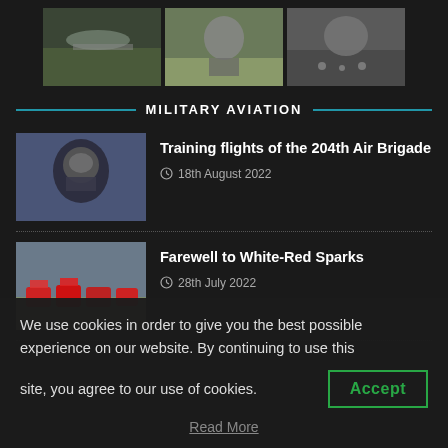[Figure (photo): Three thumbnail photos of military aircraft at the top of the page]
MILITARY AVIATION
[Figure (photo): Thumbnail of a fighter pilot wearing helmet and oxygen mask]
Training flights of the 204th Air Brigade
18th August 2022
[Figure (photo): Thumbnail of red and white aerobatic jets on runway]
Farewell to White-Red Sparks
28th July 2022
We use cookies in order to give you the best possible experience on our website. By continuing to use this site, you agree to our use of cookies.
Accept
Read More